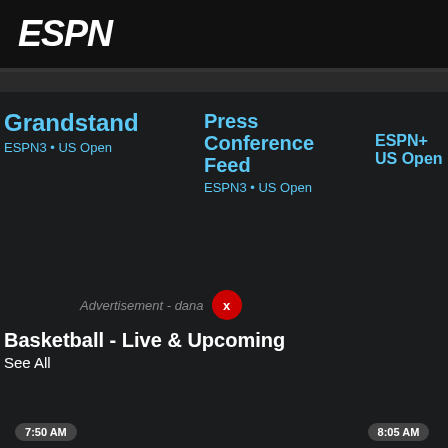ESPN
Grandstand
ESPN3 • US Open
Press Conference Feed
ESPN3 • US Open
ESPN+ • US Open
Arms Stadi...
ESPN3 • Open
Basketball - Live & Upcoming
See All
Advertisement - dana
7:50 AM
Finland vs. Israel (Group Phase)
8:05 AM
Great Britain vs. Ukraine (Group
10:10 AM
Panama vs. Venezuela (Group
10:50 AM
Greece vs. Croatia (Group Phase)